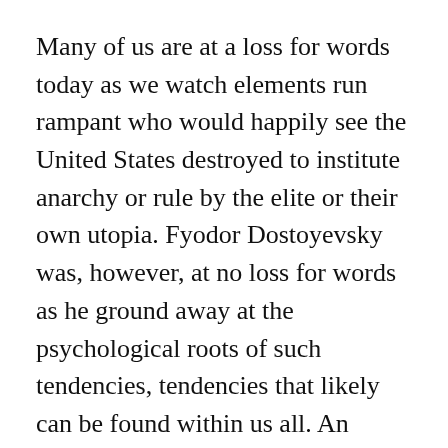Many of us are at a loss for words today as we watch elements run rampant who would happily see the United States destroyed to institute anarchy or rule by the elite or their own utopia. Fyodor Dostoyevsky was, however, at no loss for words as he ground away at the psychological roots of such tendencies, tendencies that likely can be found within us all. An essential message of this early work seems to be that we cannot be content and that if we had it all, we'd tear it all down just out of boredom and discontent.
As I watch the great recent, and perhaps revolutionary, crises play out in the media